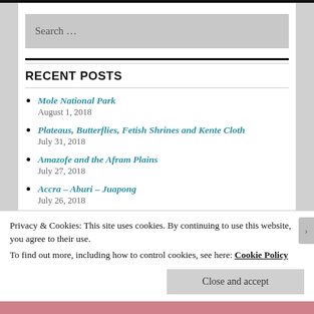Search …
RECENT POSTS
Mole National Park
August 1, 2018
Plateaus, Butterflies, Fetish Shrines and Kente Cloth
July 31, 2018
Amazofe and the Afram Plains
July 27, 2018
Accra – Aburi – Juapong
July 26, 2018
Privacy & Cookies: This site uses cookies. By continuing to use this website, you agree to their use.
To find out more, including how to control cookies, see here: Cookie Policy
Close and accept